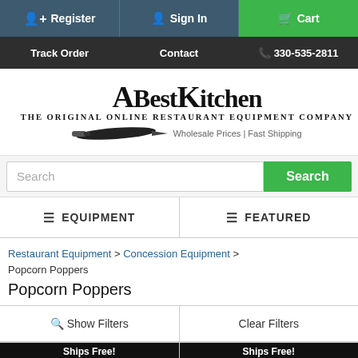Register | Sign In | Cart
Track Order | Contact | 330-535-2811
[Figure (logo): ABestKitchen logo — The Original Online Restaurant Equipment Company, Wholesale Prices | Fast Shipping, with a chef's knife illustration]
Search
EQUIPMENT | FEATURED
Restaurant Equipment > Concession Equipment > Popcorn Poppers
Popcorn Poppers
Show Filters | Clear Filters
[Figure (photo): Product card with Ships Free! banner and popcorn popper product image (left)]
[Figure (photo): Product card with Ships Free! banner and popcorn popper product image (right)]
[Figure (logo): TrustGuard Security Scanned badge]